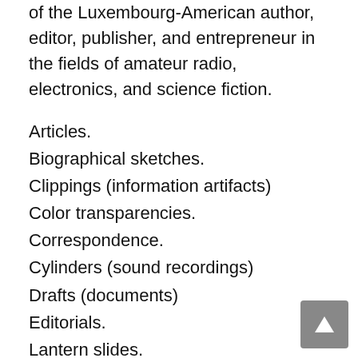of the Luxembourg-American author, editor, publisher, and entrepreneur in the fields of amateur radio, electronics, and science fiction.
Articles.
Biographical sketches.
Clippings (information artifacts)
Color transparencies.
Correspondence.
Cylinders (sound recordings)
Drafts (documents)
Editorials.
Lantern slides.
Manuscripts for publication.
Negatives (photographs)
Negative prints.
Patents.
Periodicals.